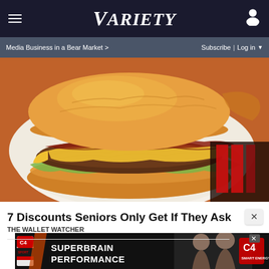VARIETY — Media Business in a Bear Market > | Subscribe | Log in
[Figure (photo): Close-up photo of a cheeseburger with melted cheese, beef patty, lettuce, and pickles on a brioche bun, served on white paper]
7 Discounts Seniors Only Get If They Ask
THE WALLET WATCHER
[Figure (photo): C4 Smart Energy advertisement banner — SUPERBRAIN PERFORMANCE with C4 can and athletes]